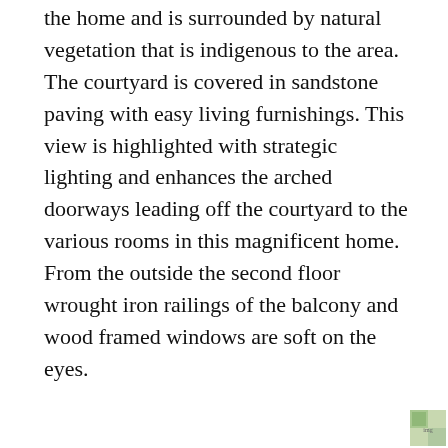the home and is surrounded by natural vegetation that is indigenous to the area. The courtyard is covered in sandstone paving with easy living furnishings. This view is highlighted with strategic lighting and enhances the arched doorways leading off the courtyard to the various rooms in this magnificent home. From the outside the second floor wrought iron railings of the balcony and wood framed windows are soft on the eyes.
Inside this Magnificent Spanish Styled Home
The living room is topped by a rough wooden ceiling and shutters which doubles as a media room and is filled with sturdy leather upholstered loungers. Moving into the dining area through a set of double
[Figure (photo): Small thumbnail image in bottom-right corner]